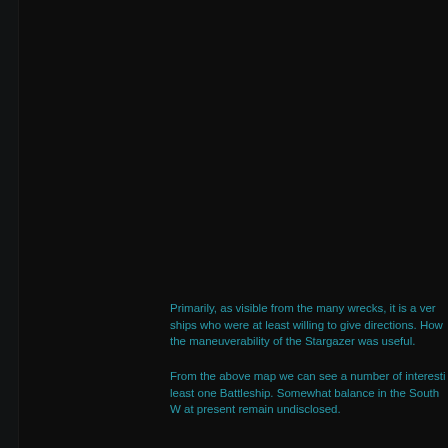Primarily, as visible from the many wrecks, it is a ver ships who were at least willing to give directions. How the maneuverability of the Stargazer was useful.
From the above map we can see a number of interesti least one Battleship. Somewhat balance in the South W at present remain undisclosed.